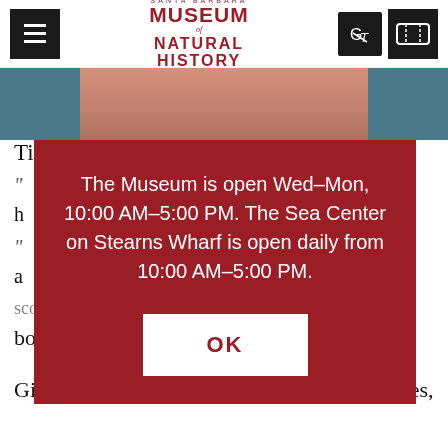Santa Barbara Museum of Natural History
[Figure (photo): Partial photo of a person, cropped at chest/shoulders, appearing to wear a salmon/pink shirt, with teal/blue background on the sides]
Ti
“
h
“
a
score every achievement in a game or read every book in a series.)
Gimmel is thoughtful. “I have those tendencies,
The Museum is open Wed–Mon, 10:00 AM–5:00 PM. The Sea Center on Stearns Wharf is open daily from 10:00 AM–5:00 PM.
OK